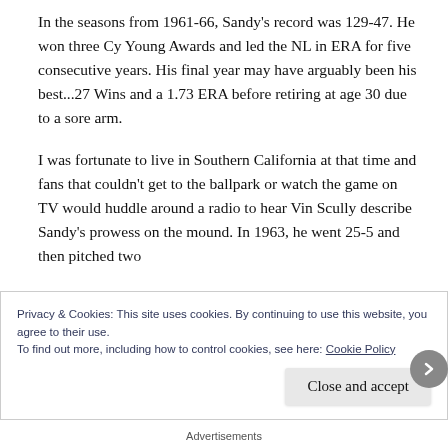In the seasons from 1961-66, Sandy’s record was 129-47. He won three Cy Young Awards and led the NL in ERA for five consecutive years. His final year may have arguably been his best...27 Wins and a 1.73 ERA before retiring at age 30 due to a sore arm.
I was fortunate to live in Southern California at that time and fans that couldn’t get to the ballpark or watch the game on TV would huddle around a radio to hear Vin Scully describe Sandy’s prowess on the mound. In 1963, he went 25-5 and then pitched two
Privacy & Cookies: This site uses cookies. By continuing to use this website, you agree to their use.
To find out more, including how to control cookies, see here: Cookie Policy
Close and accept
Advertisements